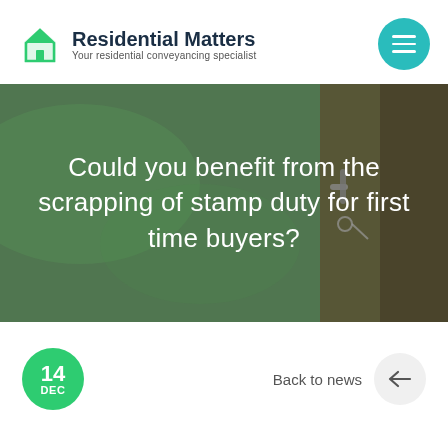Residential Matters — Your residential conveyancing specialist
[Figure (photo): Close-up photo of a house door handle with keys, blurred green outdoor background. Overlaid white text reads: Could you benefit from the scrapping of stamp duty for first time buyers?]
14 DEC
Back to news